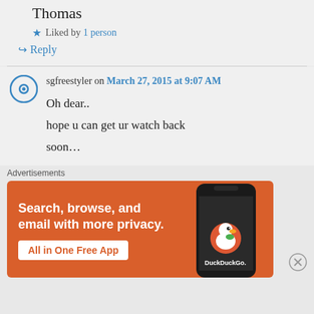Thomas
★ Liked by 1 person
↪ Reply
sgfreestyler on March 27, 2015 at 9:07 AM
Oh dear..
hope u can get ur watch back soon…
Advertisements
[Figure (screenshot): DuckDuckGo advertisement banner showing text 'Search, browse, and email with more privacy. All in One Free App' with a phone graphic and DuckDuckGo logo on an orange background.]